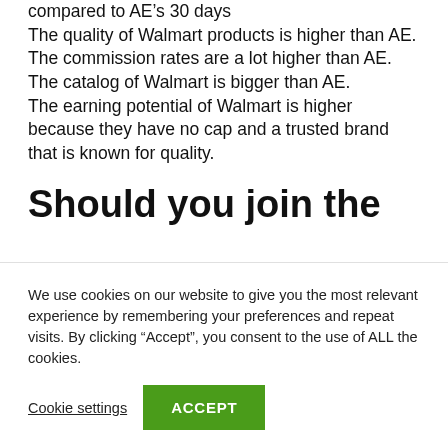compared to AE's 30 days
The quality of Walmart products is higher than AE.
The commission rates are a lot higher than AE.
The catalog of Walmart is bigger than AE.
The earning potential of Walmart is higher because they have no cap and a trusted brand that is known for quality.
Should you join the
We use cookies on our website to give you the most relevant experience by remembering your preferences and repeat visits. By clicking “Accept”, you consent to the use of ALL the cookies.
Cookie settings
ACCEPT